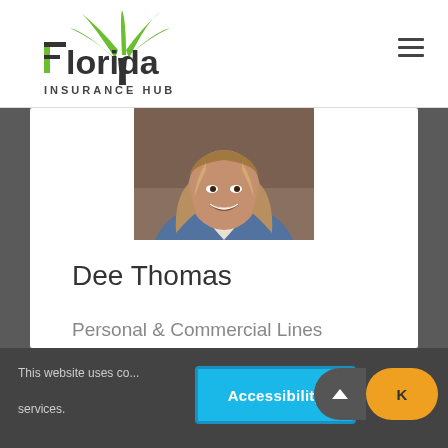[Figure (logo): Florida Insurance Hub logo with green palm tree icon and dark text]
[Figure (photo): Professional headshot of Dee Thomas, a woman with long highlighted hair wearing a blue blazer, smiling]
Dee Thomas
Personal & Commercial Lines Insurance
This website uses co... services.
Accessibility
K